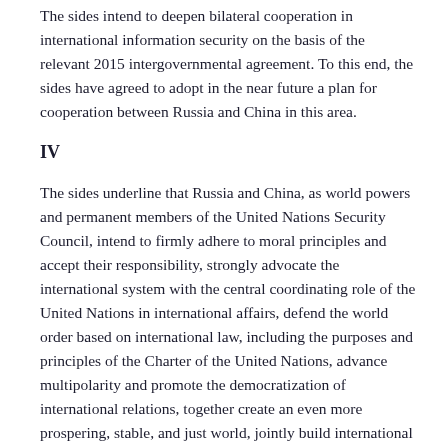The sides intend to deepen bilateral cooperation in international information security on the basis of the relevant 2015 intergovernmental agreement. To this end, the sides have agreed to adopt in the near future a plan for cooperation between Russia and China in this area.
IV
The sides underline that Russia and China, as world powers and permanent members of the United Nations Security Council, intend to firmly adhere to moral principles and accept their responsibility, strongly advocate the international system with the central coordinating role of the United Nations in international affairs, defend the world order based on international law, including the purposes and principles of the Charter of the United Nations, advance multipolarity and promote the democratization of international relations, together create an even more prospering, stable, and just world, jointly build international relations of a new type.